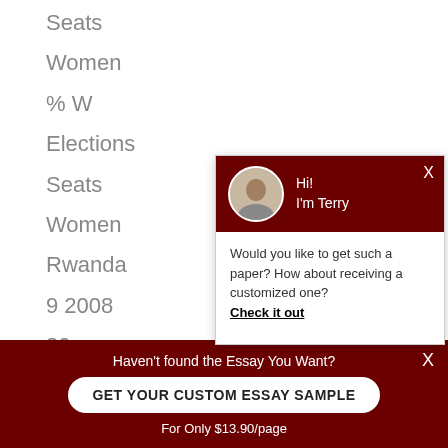Seats
Women
% W
Elections
Seats
Women
Rwanda
9 2008
80
45
56.3%
[Figure (screenshot): Chat popup with avatar of Terry saying 'Would you like to get such a paper? How about receiving a customized one? Check it out']
Haven't found the Essay You Want?
GET YOUR CUSTOM ESSAY SAMPLE
For Only $13.90/page